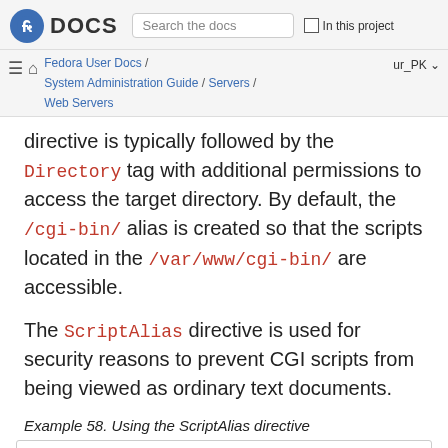Fedora DOCS | Search the docs | In this project
Fedora User Docs / System Administration Guide / Servers / Web Servers | ur_PK
directive is typically followed by the Directory tag with additional permissions to access the target directory. By default, the /cgi-bin/ alias is created so that the scripts located in the /var/www/cgi-bin/ are accessible.
The ScriptAlias directive is used for security reasons to prevent CGI scripts from being viewed as ordinary text documents.
Example 58. Using the ScriptAlias directive
ScriptAlias /cgi-bin/ /var/www/cgi-bin/